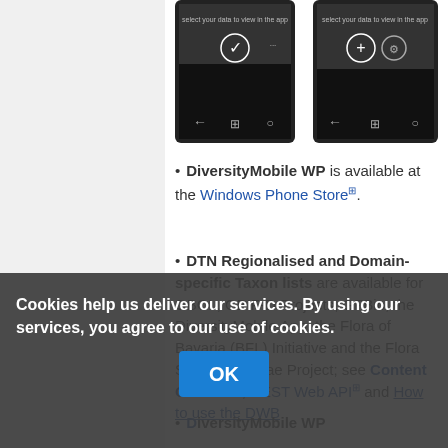[Figure (screenshot): Two Windows Phone screenshots showing DiversityMobile WP app interface with dark navigation bars and phone controls]
DiversityMobile WP is available at the Windows Phone Store.
DTN Regionalised and Domain-specific Taxon lists are available for GBOL, GBIF-D Projects, GFBio, the DiversityMobile App, the Flora of Bavaria (BFL) Initiative and the Flora Silvae Gabretae Project; see Content Overview, REST Web API and How to use the DWB Taxon Lists.
DiversityMobile WP
Cookies help us deliver our services. By using our services, you agree to our use of cookies.
OK